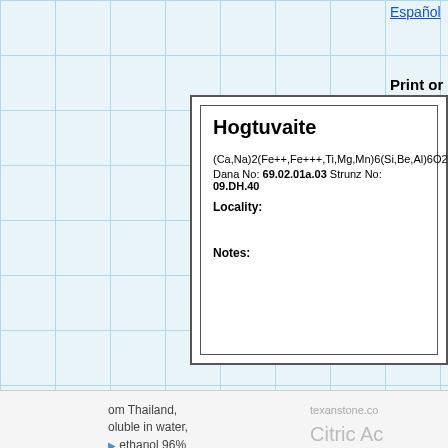Español
Print or Cut-and-Paste your Hog
Hogtuvaite
(Ca,Na)2(Fe++,Fe+++,Ti,Mg,Mn)6(Si,Be,Al)6O20
Dana No: 69.02.01a.03 Strunz No: 09.DH.40
Locality:

Notes:
Print this Label
om Thailand, oluble in water, ethanol 96%
texanstone.co Citric Ac